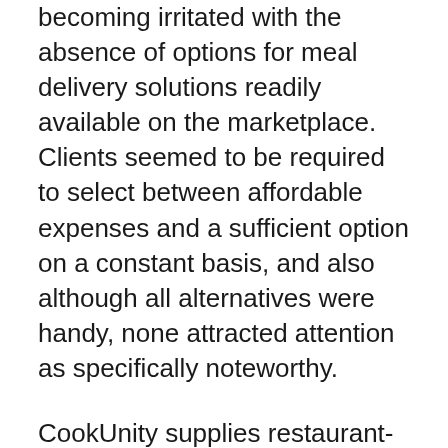becoming irritated with the absence of options for meal delivery solutions readily available on the marketplace. Clients seemed to be required to select between affordable expenses and a sufficient option on a constant basis, and also although all alternatives were handy, none attracted attention as specifically noteworthy.
CookUnity supplies restaurant-quality dishes in a straightforward, subscription-based version that is easy to use. High-end delicacies are readily available at a small cost thanks to the service, which connects professional chefs with day-to-day consumers. CookUnity advertises itself as being a chef-driven facility, offering customized dishes that are easy to use and